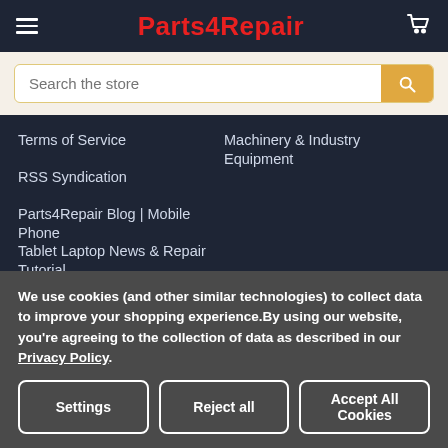Parts4Repair
Search the store
Terms of Service
Machinery & Industry Equipment
RSS Syndication
Parts4Repair Blog | Mobile Phone Tablet Laptop News & Repair Tutorial
Sitemap
We use cookies (and other similar technologies) to collect data to improve your shopping experience.By using our website, you're agreeing to the collection of data as described in our Privacy Policy.
Settings | Reject all | Accept All Cookies